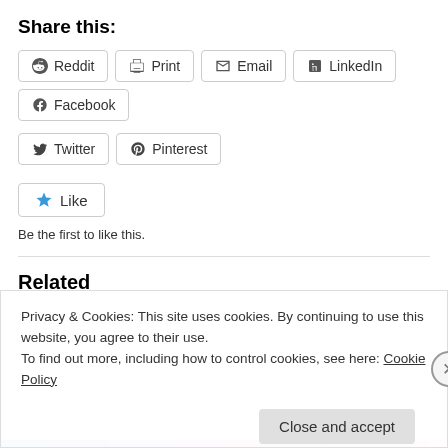Share this:
Reddit | Print | Email | LinkedIn | Facebook | Twitter | Pinterest
Like
Be the first to like this.
Related
Is God Denominational?
July 7, 2008
Privacy & Cookies: This site uses cookies. By continuing to use this website, you agree to their use.
To find out more, including how to control cookies, see here: Cookie Policy
Close and accept